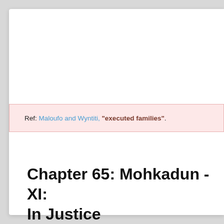Ref: Maloufo and Wyntiti, "executed families".
Chapter 65: Mohkadun - XI: In Justice